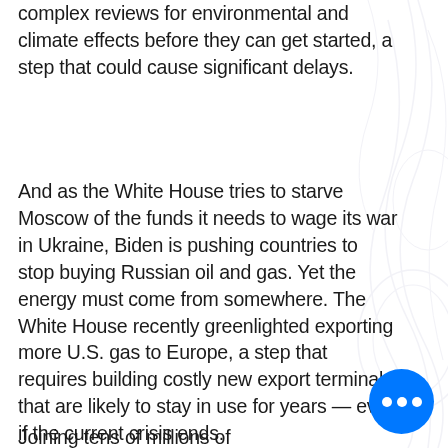complex reviews for environmental and climate effects before they can get started, a step that could cause significant delays.
And as the White House tries to starve Moscow of the funds it needs to wage its war in Ukraine, Biden is pushing countries to stop buying Russian oil and gas. Yet the energy must come from somewhere. The White House recently greenlighted exporting more U.S. gas to Europe, a step that requires building costly new export terminals that are likely to stay in use for years — even if the current crisis ends.
Joining tens of millions of...